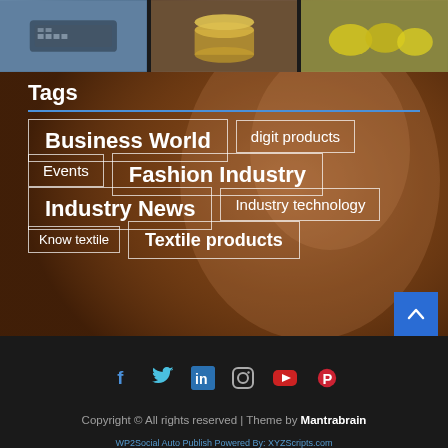[Figure (photo): Three small photos at top: person typing on keyboard, stacked coins, lemons/fruit]
Tags
Business World
digit products
Events
Fashion Industry
Industry News
Industry technology
Know textile
Textile products
[Figure (photo): Background image of a woman with long hair, eyes closed, warm brownish tone overlay]
Copyright © All rights reserved | Theme by Mantrabrain
WP2Social Auto Publish Powered By: XYZScripts.com